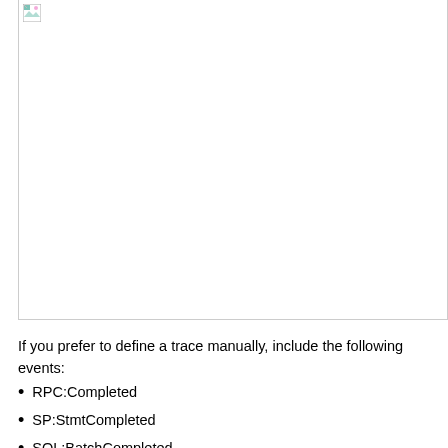[Figure (screenshot): Screenshot of a SQL Server Profiler or trace configuration dialog, mostly blank/white with a broken image icon in the top-left corner.]
If you prefer to define a trace manually, include the following events:
RPC:Completed
SP:StmtCompleted
SQL:BatchCompleted